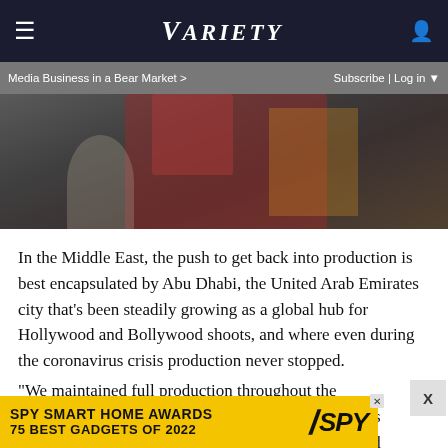VARIETY
Media Business in a Bear Market >   Subscribe | Log in
[Figure (photo): A person in a red outfit holding a microphone at an entertainment event, with crowd and colorful background]
In the Middle East, the push to get back into production is best encapsulated by Abu Dhabi, the United Arab Emirates city that's been steadily growing as a global hub for Hollywood and Bollywood shoots, and where even during the coronavirus crisis production never stopped.
“We maintained full production throughout the pandemic,” says Michael Garin, CEO of Abu Dhabi’s Twofour54, the outfit that provides infrastructure and incentives to more than 500
[Figure (other): SPY Smart Home Awards advertisement banner: SPY SMART HOME AWARDS / 75 BEST GADGETS OF 2022]